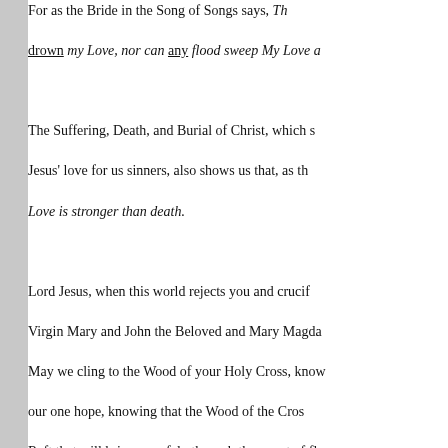For as the Bride in the Song of Songs says, The waters cannot drown my Love, nor can any flood sweep My Love away. The Suffering, Death, and Burial of Christ, which shows us Jesus' love for us sinners, also shows us that, as the Song of Songs says, Love is stronger than death. Lord Jesus, when this world rejects you and crucifies you, like the Virgin Mary and John the Beloved and Mary Magdalene, we are there. May we cling to the Wood of your Holy Cross, knowing that it is our one hope, knowing that the Wood of the Cross is like a Raft that will bring us safely through the worst of floods.
This entry was posted on Friday, April 2nd, 2010 at 11:07 in Good Day Homilies, Lent/Easter Homilies. You can follow a ... through the RSS 2.0 feed. Both comments and pings are ...
Comments are closed.
fatherwoolley.com is proudly powered by WordPress
Entries (RSS) and Comments (RSS)